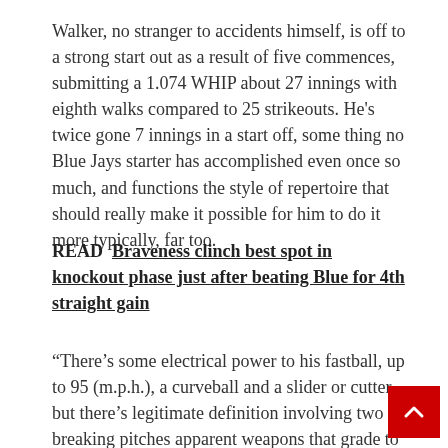Walker, no stranger to accidents himself, is off to a strong start out as a result of five commences, submitting a 1.074 WHIP about 27 innings with eighth walks compared to 25 strikeouts. He's twice gone 7 innings in a start off, some thing no Blue Jays starter has accomplished even once so much, and functions the style of repertoire that should really make it possible for him to do it more typically, far too.
READ  Braveness clinch best spot in knockout phase just after beating Blue for 4th straight gain
“There’s some electrical power to his fastball, up to 95 (m.p.h.), a curveball and a slider or cutter, but there’s legitimate definition involving two breaking pitches apparent weapons that grade to be typical or